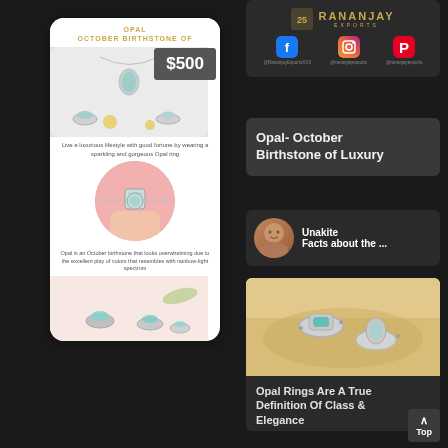OPAL OCTOBER BIRTHSTONE OF
$500
[Figure (photo): Opal jewelry - necklace and rings on white background]
Live a luxurious lifestyle with good fortune by wearing a sparkling and gorgeous Opal ring
[Figure (photo): Opal bracelet held in hand, circular crop]
Opal is an October birthstone that looks overwhelming due to the excellent play of colors that resembles with rainbow-light spectrum
[Figure (photo): Opal rings on pink background]
[Figure (logo): Rananjay Exports logo with social media handles: @RananjayExportsXXX (Facebook), @rananjayexports (Instagram), @rananjayexports (Pinterest)]
Opal- October Birthstone of Luxury
Unakite Facts about the ...
[Figure (photo): Opal rings on sandy/stone background]
Opal Rings Are A True Definition Of Class & Elegance